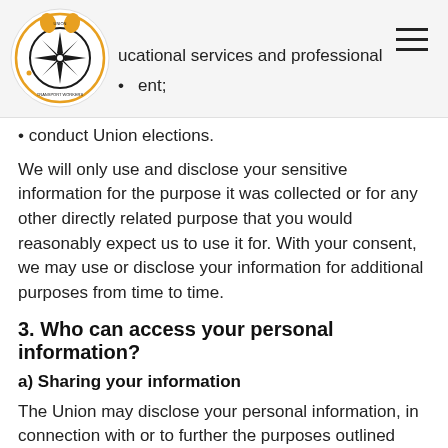[Transport Workers Union logo and navigation menu]
ucational services and professional
ent;
conduct Union elections.
We will only use and disclose your sensitive information for the purpose it was collected or for any other directly related purpose that you would reasonably expect us to use it for. With your consent, we may use or disclose your information for additional purposes from time to time.
3. Who can access your personal information?
a) Sharing your information
The Union may disclose your personal information, in connection with or to further the purposes outlined above, to: